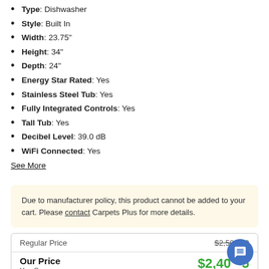Type: Dishwasher
Style: Built In
Width: 23.75"
Height: 34"
Depth: 24"
Energy Star Rated: Yes
Stainless Steel Tub: Yes
Fully Integrated Controls: Yes
Tall Tub: Yes
Decibel Level: 39.0 dB
WiFi Connected: Yes
See More
Due to manufacturer policy, this product cannot be added to your cart. Please contact Carpets Plus for more details.
|  |  |
| --- | --- |
| Regular Price | $2,500.99 |
| Our Price | $2,40_5 |
| You Save | _3 |
| Rebate Available | See Details |